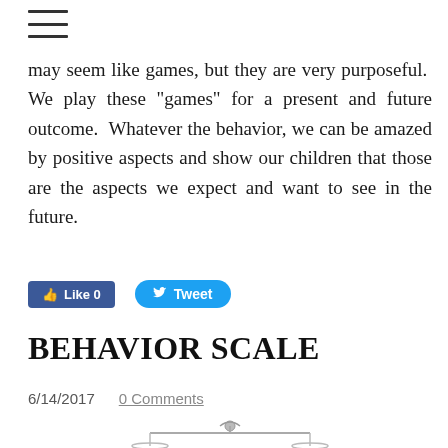☰
may seem like games, but they are very purposeful.  We play these "games" for a present and future outcome.  Whatever the behavior, we can be amazed by positive aspects and show our children that those are the aspects we expect and want to see in the future.
[Figure (other): Facebook Like button (Like 0) and Twitter Tweet button]
BEHAVIOR SCALE
6/14/2017        0 Comments
[Figure (illustration): Partial illustration of a balance scale at the bottom of the page]